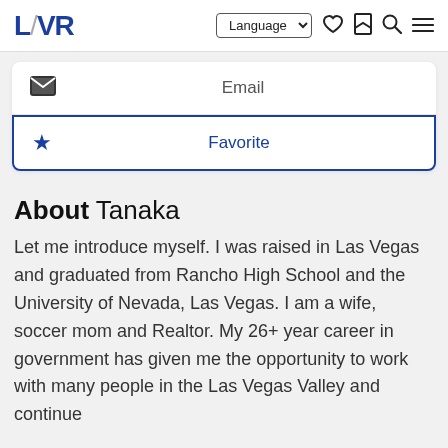LVR — Language | heart | bookmark | search | menu
Email
Favorite
About Tanaka
Let me introduce myself. I was raised in Las Vegas and graduated from Rancho High School and the University of Nevada, Las Vegas. I am a wife, soccer mom and Realtor. My 26+ year career in government has given me the opportunity to work with many people in the Las Vegas Valley and continue